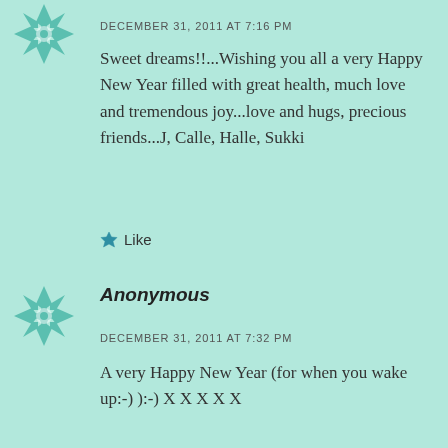[Figure (logo): Teal decorative avatar icon (geometric flower/star pattern) for first commenter]
DECEMBER 31, 2011 AT 7:16 PM
Sweet dreams!!...Wishing you all a very Happy New Year filled with great health, much love and tremendous joy...love and hugs, precious friends...J, Calle, Halle, Sukki
Like
[Figure (logo): Teal decorative avatar icon (geometric flower/star pattern) for Anonymous commenter]
Anonymous
DECEMBER 31, 2011 AT 7:32 PM
A very Happy New Year (for when you wake up:-) ):-)  X X X X X